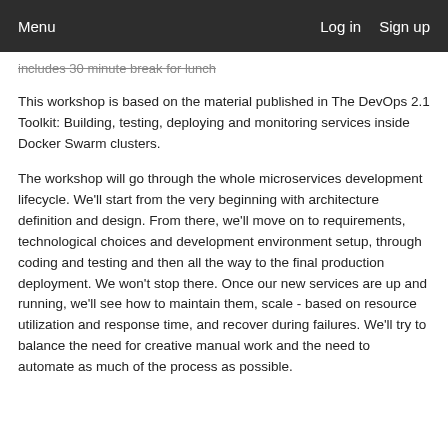Menu   Log in   Sign up
includes 30 minute break for lunch
This workshop is based on the material published in The DevOps 2.1 Toolkit: Building, testing, deploying and monitoring services inside Docker Swarm clusters.
The workshop will go through the whole microservices development lifecycle. We'll start from the very beginning with architecture definition and design. From there, we'll move on to requirements, technological choices and development environment setup, through coding and testing and then all the way to the final production deployment. We won't stop there. Once our new services are up and running, we'll see how to maintain them, scale - based on resource utilization and response time, and recover during failures. We'll try to balance the need for creative manual work and the need to automate as much of the process as possible.